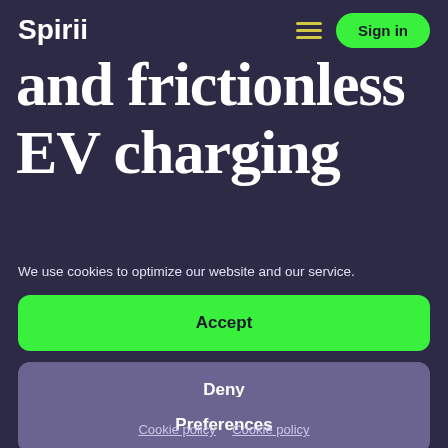Spirii
and frictionless EV charging
We use cookies to optimize our website and our service.
Accept
Deny
Preferences
Cookie policy  Cookie policy